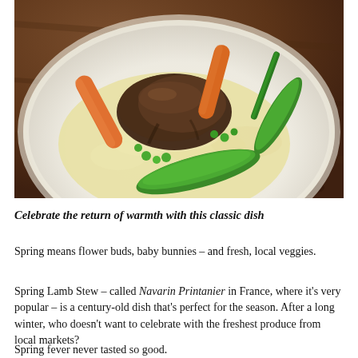[Figure (photo): A white plate with Spring Lamb Stew (Navarin Printanier) — braised lamb pieces with glazed carrots, snap peas, green beans, peas, and creamy mashed potato or cauliflower, on a dark wooden table background.]
Celebrate the return of warmth with this classic dish
Spring means flower buds, baby bunnies – and fresh, local veggies.
Spring Lamb Stew – called Navarin Printanier in France, where it's very popular – is a century-old dish that's perfect for the season. After a long winter, who doesn't want to celebrate with the freshest produce from local markets?
Spring fever never tasted so good.